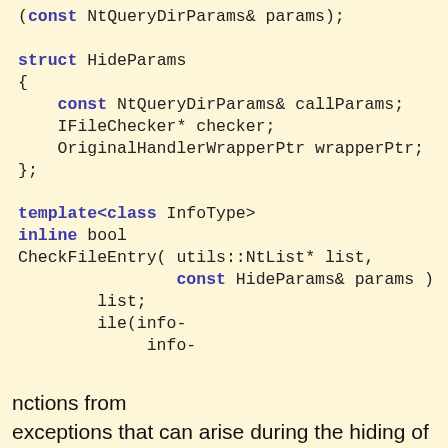(const NtQueryDirParams& params);

struct HideParams
{
    const NtQueryDirParams& callParams;
    IFileChecker* checker;
    OriginalHandlerWrapperPtr wrapperPtr;
};

template<class InfoType>
inline bool
CheckFileEntry( utils::NtList* list,
                const HideParams& params )

    list;
    ile(info-
         info-
[Figure (screenshot): Cookie consent banner overlay with orange background. Text reads: 'Like every other website we use cookies. By using our site you acknowledge that you have read and understand our Cookie Policy, Privacy Policy, and our Terms of Service. Learn more'. Buttons: 'Ask me later', 'Decline', 'Allow cookies'.]
nctions from
exceptions that can arise during the hiding of